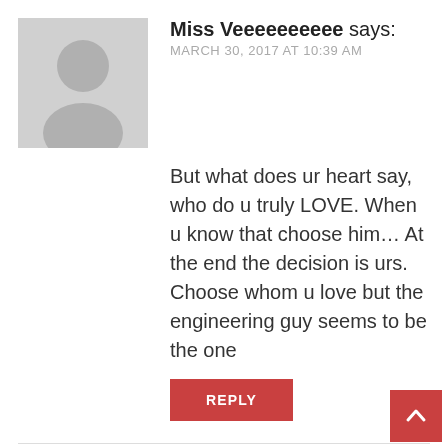Miss Veeeeeeeeee says:
MARCH 30, 2017 AT 10:39 AM
But what does ur heart say, who do u truly LOVE. When u know that choose him… At the end the decision is urs. Choose whom u love but the engineering guy seems to be the one
REPLY
Bonnie says:
MARCH 30, 2017 AT 10:51 AM
Still #teamSimba though… lol.
Johannesburg… It seems as though none